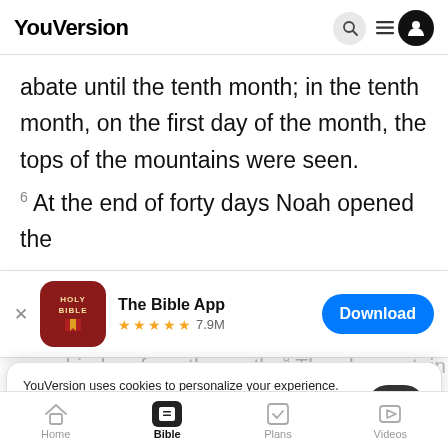YouVersion
abate until the tenth month; in the tenth month, on the first day of the month, the tops of the mountains were seen.
6 At the end of forty days Noah opened the
[Figure (screenshot): The Bible App download banner with Holy Bible icon, star rating 7.9M, and Download button]
w... dried up from the earth. 8 Then he sent
a dove
from the face of the ground, but the dove found
YouVersion uses cookies to personalize your experience. By using our website, you accept our use of cookies as described in our Privacy Policy.
Home  Bible  Plans  Videos